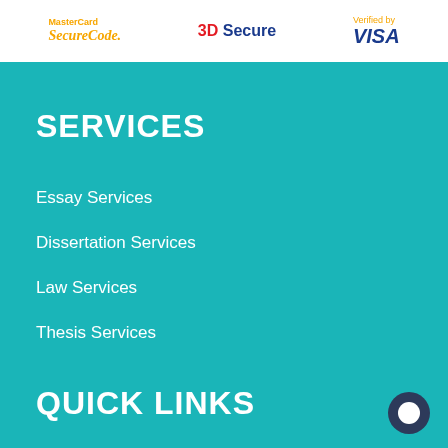[Figure (logo): Payment security logos: MasterCard SecureCode, 3D Secure, Verified by VISA]
SERVICES
Essay Services
Dissertation Services
Law Services
Thesis Services
Research Paper Services
PHD Services
QUICK LINKS